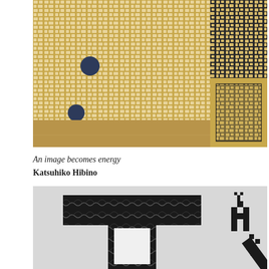[Figure (photo): Close-up photograph of an artwork featuring a golden/ochre grid-like mosaic pattern on white background, with two dark circular marks on the left side, and a darker section with black and white grid pattern on the upper right.]
An image becomes energy
Katsuhiko Hibino
[Figure (photo): Black and white photograph of an artwork featuring large pixelated or collage-style letter forms with marbled/black textures, and a pixelated pixel-art style deer or animal figure on the upper right.]